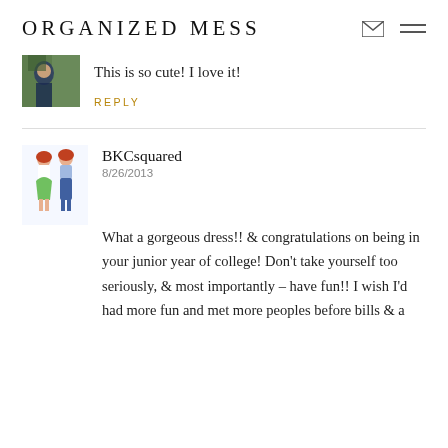ORGANIZED MESS
[Figure (photo): Small avatar thumbnail showing a person outdoors with green foliage background]
This is so cute! I love it!
REPLY
[Figure (illustration): Illustrated avatar of two stylized fashion figures, one in green skirt and one in jeans]
BKCsquared
8/26/2013
What a gorgeous dress!! & congratulations on being in your junior year of college! Don't take yourself too seriously, & most importantly – have fun!! I wish I'd had more fun and met more peoples before bills & a